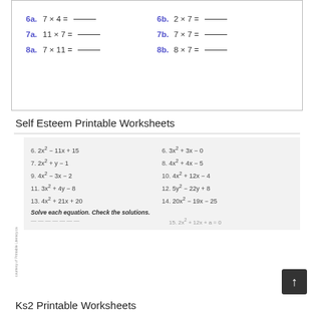[Figure (other): Multiplication worksheet showing problems: 6a. 7×4=___, 6b. 2×7=___, 7a. 11×7=___, 7b. 7×7=___, 8a. 7×11=___, 8b. 8×7=___]
Self Esteem Printable Worksheets
[Figure (other): Algebra worksheet with quadratic expressions: 6. 2x²-11x+15, 6. 3x²+3x-0, 7. 2x²+y-1, 8. 4x²+4x-5, 9. 4x²-3x-2, 10. 4x²+12x-4, 11. 3x²+4y-8, 12. 5y²-22y+8, 13. 4x²+21x+20, 14. 20x²-19x-25; Solve each equation. Check the solutions.]
Ks2 Printable Worksheets